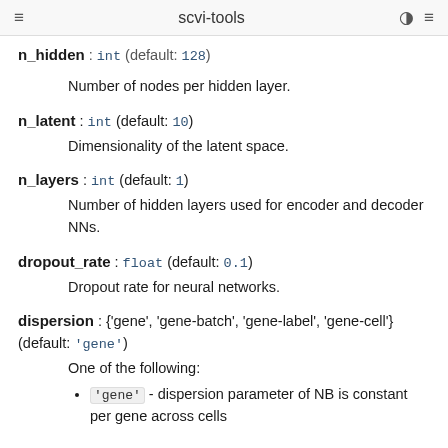scvi-tools
n_hidden : int (default: 128)
Number of nodes per hidden layer.
n_latent : int (default: 10)
Dimensionality of the latent space.
n_layers : int (default: 1)
Number of hidden layers used for encoder and decoder NNs.
dropout_rate : float (default: 0.1)
Dropout rate for neural networks.
dispersion : {'gene', 'gene-batch', 'gene-label', 'gene-cell'} (default: 'gene')
One of the following:
'gene' - dispersion parameter of NB is constant per gene across cells